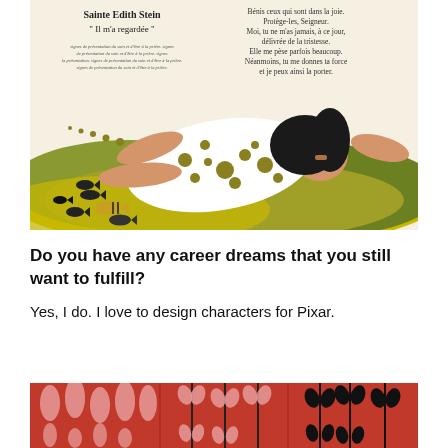[Figure (illustration): Illustrated children's book page showing a woman in a white polka-dot dress lying on green and yellow ground with fish swimming nearby. Left side has French text with title 'Sainte Edith Stein' and quote '"Il m'a regardée"'. Right side has French poem text: 'Bénis ceux qui sont dans la joie. Protège-les, Seigneur. Moi, tu ne m'as jamais, à ce jour, délivrée de la tristesse. Elle me pèse parfois beaucoup. Néanmoins, tu me donnes ta force et je peux ainsi la porter.']
Do you have any career dreams that you still want to fulfill?
Yes, I do. I love to design characters for Pixar.
[Figure (illustration): Bottom portion of an illustration showing red background with stylized plant/leaf forms in black and pink, repeated in three panels.]